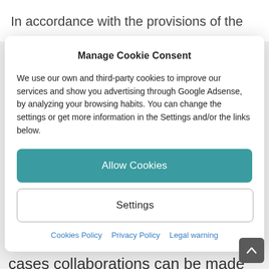In accordance with the provisions of the
Manage Cookie Consent
We use our own and third-party cookies to improve our services and show you advertising through Google Adsense, by analyzing your browsing habits. You can change the settings or get more information in the Settings and/or the links below.
Allow Cookies
Settings
Cookies Policy  Privacy Policy  Legal warning
without prior consent. However, in some cases collaborations can be made with other